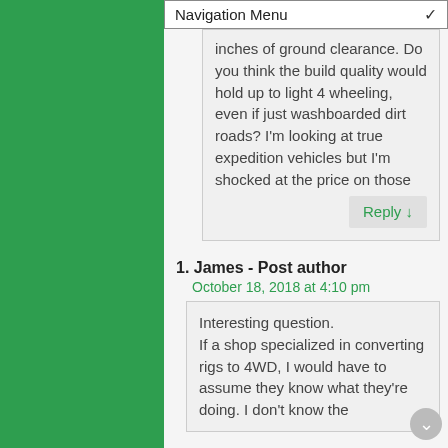Navigation Menu
inches of ground clearance. Do you think the build quality would hold up to light 4 wheeling, even if just washboarded dirt roads? I'm looking at true expedition vehicles but I'm shocked at the price on those
Reply ↓
1. James - Post author
October 18, 2018 at 4:10 pm
Interesting question. If a shop specialized in converting rigs to 4WD, I would have to assume they know what they're doing. I don't know the